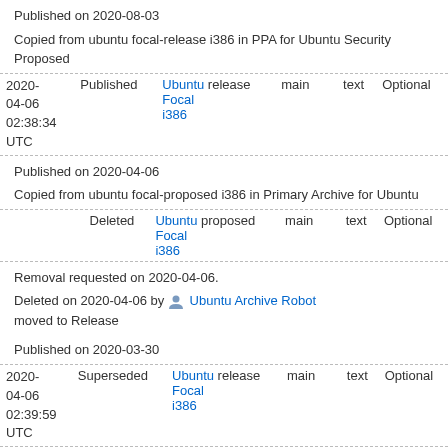Published on 2020-08-03
Copied from ubuntu focal-release i386 in PPA for Ubuntu Security Proposed
| Date | Status | Distribution | Pocket | Component | Format | Priority |
| --- | --- | --- | --- | --- | --- | --- |
| 2020-04-06 02:38:34 UTC | Published | Ubuntu Focal i386 | release | main | text | Optional |
Published on 2020-04-06
Copied from ubuntu focal-proposed i386 in Primary Archive for Ubuntu
| Date | Status | Distribution | Pocket | Component | Format | Priority |
| --- | --- | --- | --- | --- | --- | --- |
|  | Deleted | Ubuntu Focal i386 | proposed | main | text | Optional |
Removal requested on 2020-04-06.
Deleted on 2020-04-06 by Ubuntu Archive Robot
moved to Release
Published on 2020-03-30
| Date | Status | Distribution | Pocket | Component | Format | Priority |
| --- | --- | --- | --- | --- | --- | --- |
| 2020-04-06 02:39:59 UTC | Superseded | Ubuntu Focal i386 | release | main | text | Optional |
Removed from disk on 2020-04-07.